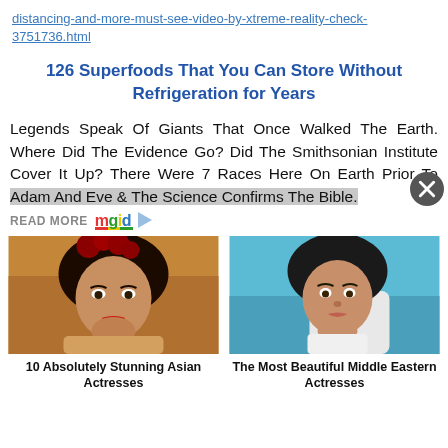distancing-and-more-must-see-video-by-xtreme-reality-check-3751736.html
126 Superfoods That You Can Store Without Refrigeration for Years
Legends Speak Of Giants That Once Walked The Earth. Where Did The Evidence Go? Did The Smithsonian Institute Cover It Up? There Were 7 Races Here On Earth Prior To Adam And Eve & The Science Confirms The Bible.
READ MORE mgid
[Figure (photo): Portrait of a woman with red roses in her hair and red lipstick]
10 Absolutely Stunning Asian Actresses
[Figure (photo): Portrait of a young woman with dark hair resting her chin on her hand, sitting in a car]
The Most Beautiful Middle Eastern Actresses